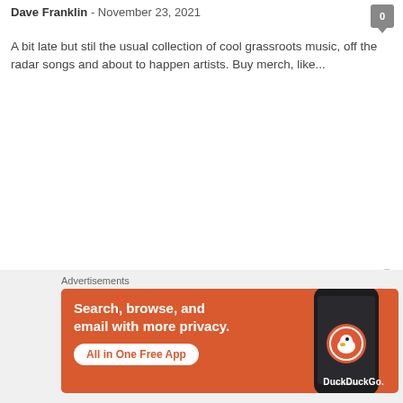Dave Franklin - November 23, 2021
A bit late but stil the usual collection of cool grassroots music, off the radar songs and about to happen artists. Buy merch, like...
Advertisements
[Figure (illustration): DuckDuckGo advertisement banner with orange background. Text reads: Search, browse, and email with more privacy. All in One Free App. Shows a smartphone with DuckDuckGo logo.]